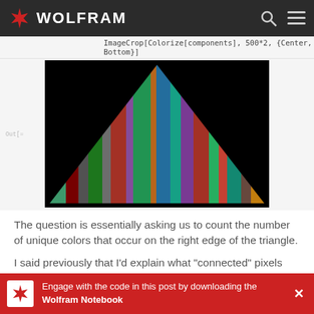WOLFRAM
ImageCrop[Colorize[components], 500*2, {Center, Bottom}]
[Figure (screenshot): Colorized triangle image showing diagonal colored stripes (green, red, purple, blue, teal, brown) on black background, representing connected pixel components.]
The question is essentially asking us to count the number of unique colors that occur on the right edge of the triangle.
I said previously that I’d explain what “connected” pixels are. Let’s take a closer look at the top of that image:
(* looking at just the first 75 steps *)
ImageCrop[%, 75*2, {Center, Bottom}] //